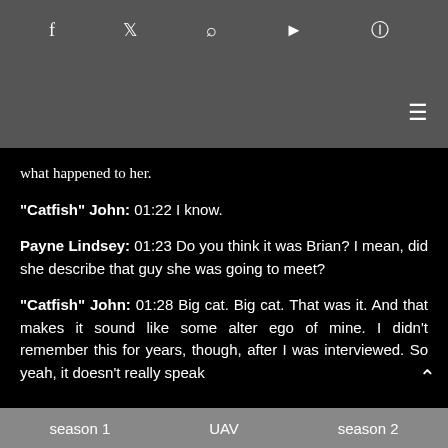f  𝕏  RSS  ▶  ⊙
what happened to her.
"Catfish" John: 01:22 I know.
Payne Lindsey: 01:23 Do you think it was Brian? I mean, did she describe that guy she was going to meet?
"Catfish" John: 01:28 Big cat. Big cat. That was it. And that makes it sound like some alter ego of mine. I didn't remember this for years, though, after I was interviewed. So yeah, it doesn't really speak
season 1   UAV   season 2